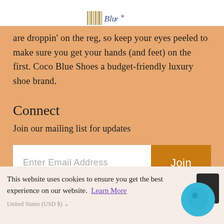Coco Blue logo
are droppin' on the reg, so keep your eyes peeled to make sure you get your hands (and feet) on the first. Coco Blue Shoes a budget-friendly luxury shoe brand.
Connect
Join our mailing list for updates
Enter Email Address | Join
This website uses cookies to ensure you get the best experience on our website. Learn More
United States (USD $)